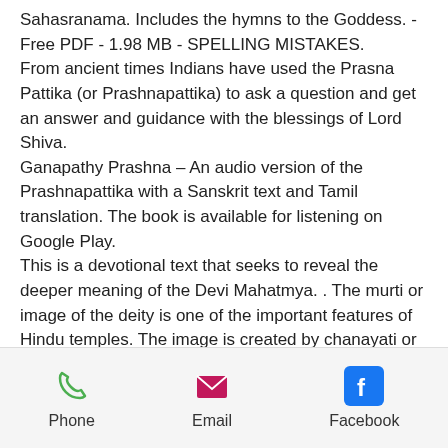Sahasranama. Includes the hymns to the Goddess. - Free PDF - 1.98 MB - SPELLING MISTAKES.
From ancient times Indians have used the Prasna Pattika (or Prashnapattika) to ask a question and get an answer and guidance with the blessings of Lord Shiva.
Ganapathy Prashna – An audio version of the Prashnapattika with a Sanskrit text and Tamil translation. The book is available for listening on Google Play.
This is a devotional text that seeks to reveal the deeper meaning of the Devi Mahatmya. . The murti or image of the deity is one of the important features of Hindu temples. The image is created by chanayati or the carpenter. He/She makes the image using an antique murti or life-size sculpture. The m
[Figure (other): Mobile app footer navigation bar with three icons: Phone (green phone icon), Email (pink/magenta envelope icon), Facebook (blue Facebook icon), each with a text label below.]